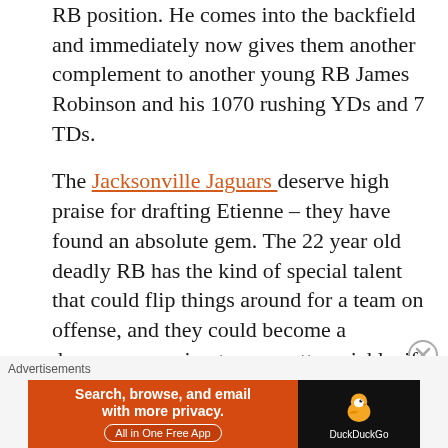RB position. He comes into the backfield and immediately now gives them another complement to another young RB James Robinson and his 1070 rushing YDs and 7 TDs.
The Jacksonville Jaguars deserve high praise for drafting Etienne – they have found an absolute gem. The 22 year old deadly RB has the kind of special talent that could flip things around for a team on offense, and they could become a dangerous scoring team, pretty quickly, if they all mesh. All roads lead to this – the Jaguars ended up with a great back in the former Clemson standout RB and he will help them for many years.
[Figure (other): DuckDuckGo advertisement banner: orange left section with text 'Search, browse, and email with more privacy. All in One Free App', and dark right section with DuckDuckGo duck logo and brand name.]